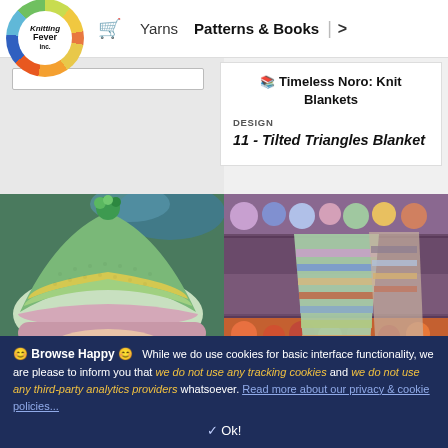Knitting Fever inc. | 🛒  Yarns   Patterns & Books  >
📖 Timeless Noro: Knit Blankets
DESIGN
11 - Tilted Triangles Blanket
[Figure (photo): Close-up photo of a knitted hat with green, yellow and pink variegated yarn with a pompom on top, displayed on a person's head]
[Figure (photo): Photo of colorful knitted garments in multicolored stripes displayed in a yarn shop with shelves of yarn in the background]
😊 Browse Happy 😊  While we do use cookies for basic interface functionality, we are please to inform you that we do not use any tracking cookies and we do not use any third-party analytics providers whatsoever. Read more about our privacy & cookie policies...
✓ Ok!